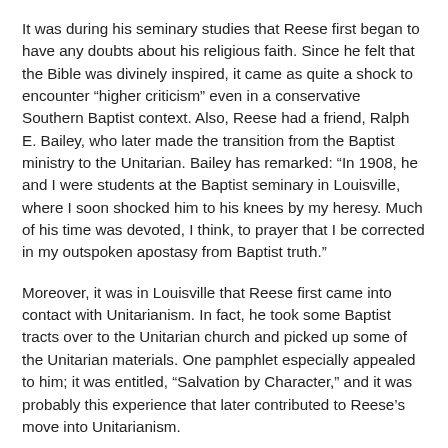It was during his seminary studies that Reese first began to have any doubts about his religious faith. Since he felt that the Bible was divinely inspired, it came as quite a shock to encounter “higher criticism” even in a conservative Southern Baptist context. Also, Reese had a friend, Ralph E. Bailey, who later made the transition from the Baptist ministry to the Unitarian. Bailey has remarked: “In 1908, he and I were students at the Baptist seminary in Louisville, where I soon shocked him to his knees by my heresy. Much of his time was devoted, I think, to prayer that I be corrected in my outspoken apostasy from Baptist truth.”
Moreover, it was in Louisville that Reese first came into contact with Unitarianism. In fact, he took some Baptist tracts over to the Unitarian church and picked up some of the Unitarian materials. One pamphlet especially appealed to him; it was entitled, “Salvation by Character,” and it was probably this experience that later contributed to Reese’s move into Unitarianism.